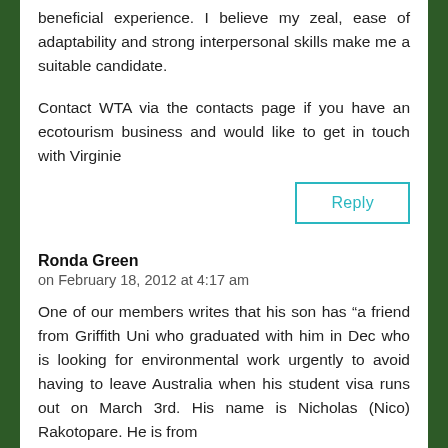beneficial experience. I believe my zeal, ease of adaptability and strong interpersonal skills make me a suitable candidate.
Contact WTA via the contacts page if you have an ecotourism business and would like to get in touch with Virginie
Reply
Ronda Green
on February 18, 2012 at 4:17 am
One of our members writes that his son has “a friend from Griffith Uni who graduated with him in Dec who is looking for environmental work urgently to avoid having to leave Australia when his student visa runs out on March 3rd. His name is Nicholas (Nico) Rakotopare. He is from